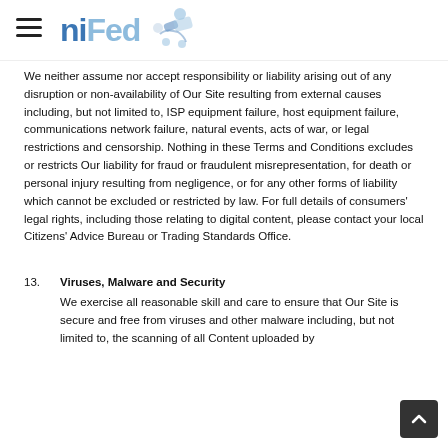niFed [logo with icon]
We neither assume nor accept responsibility or liability arising out of any disruption or non-availability of Our Site resulting from external causes including, but not limited to, ISP equipment failure, host equipment failure, communications network failure, natural events, acts of war, or legal restrictions and censorship. Nothing in these Terms and Conditions excludes or restricts Our liability for fraud or fraudulent misrepresentation, for death or personal injury resulting from negligence, or for any other forms of liability which cannot be excluded or restricted by law. For full details of consumers' legal rights, including those relating to digital content, please contact your local Citizens' Advice Bureau or Trading Standards Office.
13. Viruses, Malware and Security
We exercise all reasonable skill and care to ensure that Our Site is secure and free from viruses and other malware including, but not limited to, the scanning of all Content uploaded by